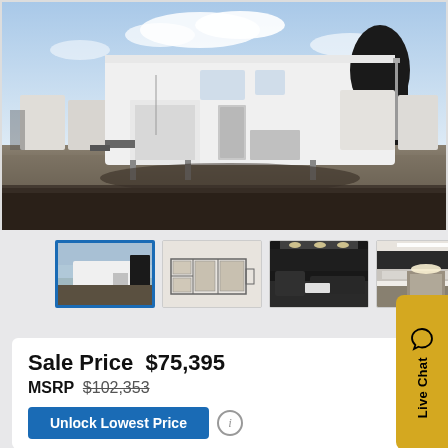[Figure (photo): White fifth-wheel RV trailer parked in a large gravel RV lot with blue sky and other RVs in background]
[Figure (photo): Thumbnail of same white fifth-wheel RV exterior, selected with blue border]
[Figure (photo): Thumbnail showing RV floor plan diagram]
[Figure (photo): Thumbnail showing dark interior of RV with living area]
[Figure (photo): Thumbnail showing bright interior of RV with kitchen/living area]
Sale Price  $75,395
MSRP  $102,353
Unlock Lowest Price